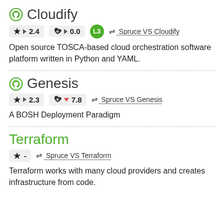Cloudify
★ ▶ 2.4   ♥ ▶ 0.0   L3   ⇌ Spruce VS Cloudify
Open source TOSCA-based cloud orchestration software platform written in Python and YAML.
Genesis
★ ▶ 2.3   ♥ ▼ 7.8   ⇌ Spruce VS Genesis
A BOSH Deployment Paradigm
Terraform
★ -   ⇌ Spruce VS Terraform
Terraform works with many cloud providers and creates infrastructure from code.